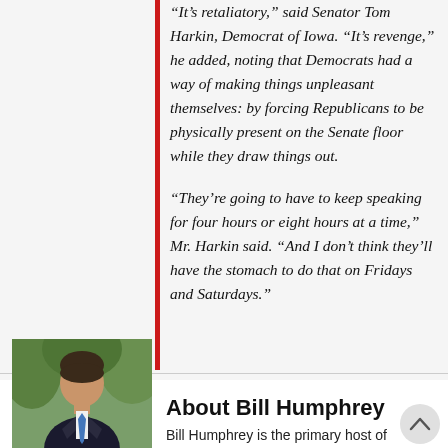“It’s retaliatory,” said Senator Tom Harkin, Democrat of Iowa. “It’s revenge,” he added, noting that Democrats had a way of making things unpleasant themselves: by forcing Republicans to be physically present on the Senate floor while they draw things out.
“They’re going to have to keep speaking for four hours or eight hours at a time,” Mr. Harkin said. “And I don’t think they’ll have the stomach to do that on Fridays and Saturdays.”
[Figure (photo): Headshot photo of Bill Humphrey, a man in a dark suit and blue tie, outdoors with green foliage in the background.]
About Bill Humphrey
Bill Humphrey is the primary host of WVUD’s Arsenal For Democracy talk radio show and a local elected official. Follow him